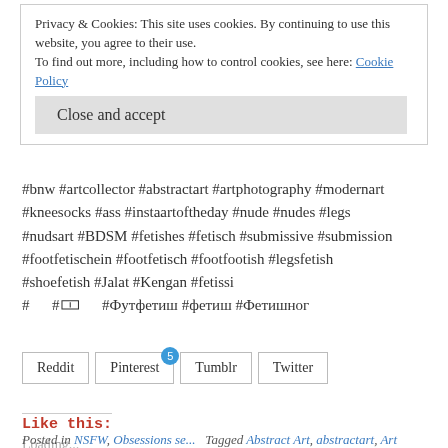Privacy & Cookies: This site uses cookies. By continuing to use this website, you agree to their use.
To find out more, including how to control cookies, see here: Cookie Policy
Close and accept
#bnw #artcollector #abstractart #artphotography #modernart #kneesocks #ass #instaartoftheday #nude #nudes #legs #nudsart #BDSM #fetishes #fetisch #submissive #submission #footfetischein #footfetisch #footfootish #legsfetish #shoefetish #Jalat #Kengan #fetissi # #0 #Футфетиш #фетиш #Фетишног
Reddit | Pinterest 5 | Tumblr | Twitter
Like this:
Loading...
Posted in NSFW, Obsessions se... Tagged Abstract Art, abstractart, Art